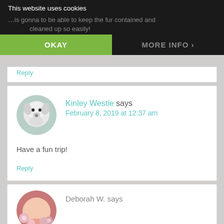This website uses cookies
…is gonna to be able to keep the fur contained and cleaned up so easily!
OKAY
MORE INFO
Reply
Kinley Westie says
February 8, 2019 at 12:37 am
Have a fun trip!
Reply
Deborah W. says